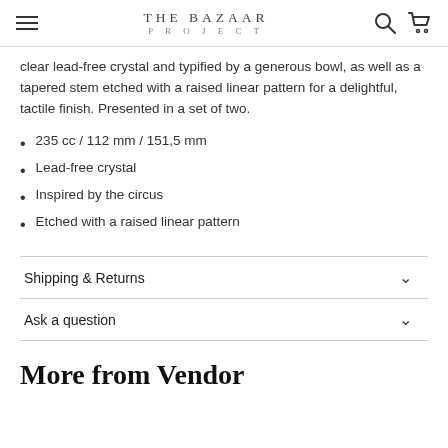THE BAZAAR PROJECT
clear lead-free crystal and typified by a generous bowl, as well as a tapered stem etched with a raised linear pattern for a delightful, tactile finish. Presented in a set of two.
235 cc / 112 mm / 151,5 mm
Lead-free crystal
Inspired by the circus
Etched with a raised linear pattern
Shipping & Returns
Ask a question
More from Vendor